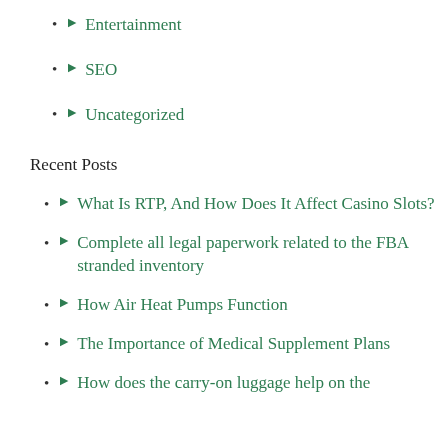Entertainment
SEO
Uncategorized
Recent Posts
What Is RTP, And How Does It Affect Casino Slots?
Complete all legal paperwork related to the FBA stranded inventory
How Air Heat Pumps Function
The Importance of Medical Supplement Plans
How does the carry-on luggage help on the